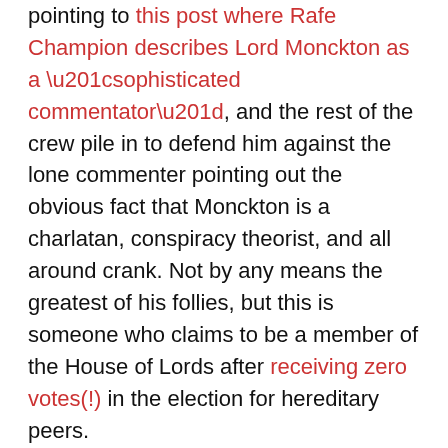pointing to this post where Rafe Champion describes Lord Monckton as a “sophisticated commentator”, and the rest of the crew pile in to defend him against the lone commenter pointing out the obvious fact that Monckton is a charlatan, conspiracy theorist, and all around crank. Not by any means the greatest of his follies, but this is someone who claims to be a member of the House of Lords after receiving zero votes(!) in the election for hereditary peers.
Being on the political left hasn’t always been comfortable, but these days I’m really glad I stuck it out. There must be some people remaining on the political right who know how far they have sunk when someone like Monckton can be a leading advocate for their views, but they are all either